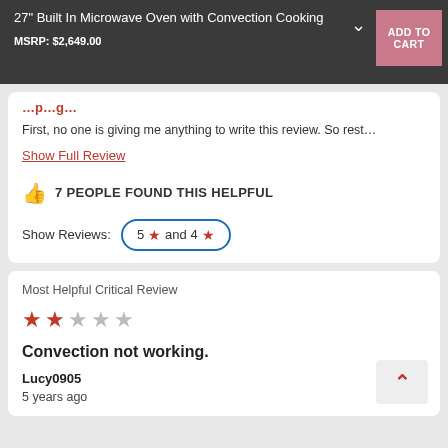27" Built In Microwave Oven with Convection Cooking
MSRP: $2,649.00
First, no one is giving me anything to write this review. So rest...
Show Full Review
7 PEOPLE FOUND THIS HELPFUL
Show Reviews: 5 ★ and 4 ★
Most Helpful Critical Review
Convection not working.
Lucy0905
5 years ago